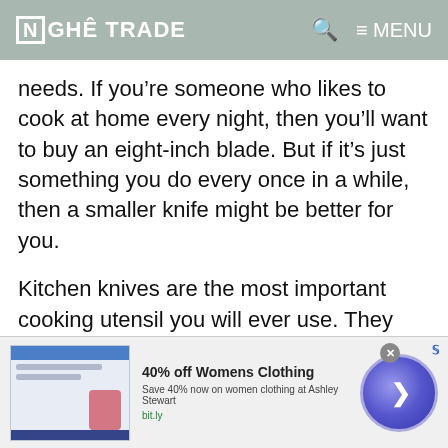NGHÊ TRADE   🔍 ≡ MENU
needs. If you're someone who likes to cook at home every night, then you'll want to buy an eight-inch blade. But if it's just something you do every once in a while, then a smaller knife might be better for you.
Kitchen knives are the most important cooking utensil you will ever use. They are crucial for making food preparation easier and more efficient. Whether you're a professional chef or just an enthusiastic
[Figure (screenshot): Advertisement banner: 40% off Womens Clothing — Save 40% now on women clothing at Ashley Stewart. Link: bit.ly. Shows a small preview image with blue/red elements and a circular blue arrow button on the right.]